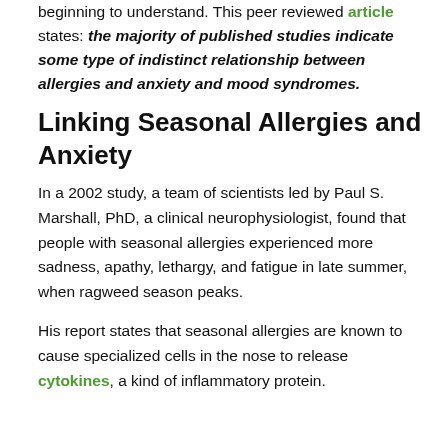beginning to understand. This peer reviewed article states: the majority of published studies indicate some type of indistinct relationship between allergies and anxiety and mood syndromes.
Linking Seasonal Allergies and Anxiety
In a 2002 study, a team of scientists led by Paul S. Marshall, PhD, a clinical neurophysiologist, found that people with seasonal allergies experienced more sadness, apathy, lethargy, and fatigue in late summer, when ragweed season peaks.
His report states that seasonal allergies are known to cause specialized cells in the nose to release cytokines, a kind of inflammatory protein.